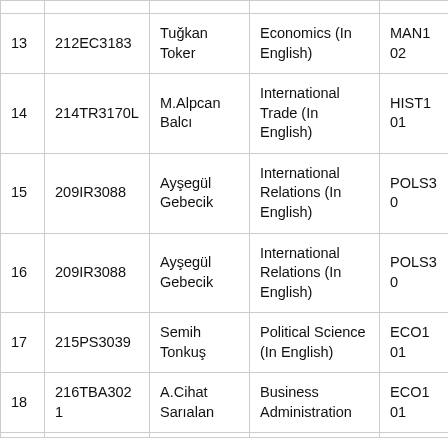| # | ID | Name | Department | Course |
| --- | --- | --- | --- | --- |
| 13 | 212EC3183 | Tuğkan Toker | Economics (In English) | MAN102... |
| 14 | 214TR3170L | M.Alpcan Balcı | International Trade (In English) | HIST101... |
| 15 | 209IR3088 | Ayşegül Gebecik | International Relations (In English) | POLS30... |
| 16 | 209IR3088 | Ayşegül Gebecik | International Relations (In English) | POLS30... |
| 17 | 215PS3039 | Semih Tonkuş | Political Science (In English) | ECO101... |
| 18 | 216TBA3021 | A.Cihat Sarıalan | Business Administration | ECO101... |